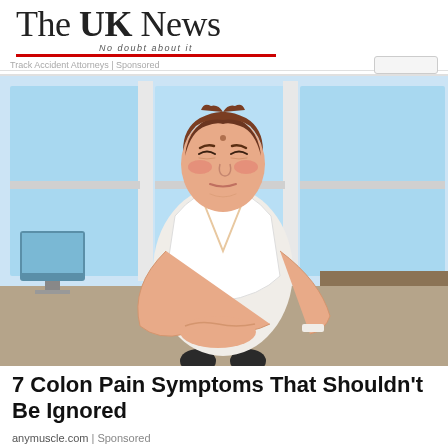The UK News — No doubt about it
Track Accident Attorneys | Sponsored
[Figure (illustration): Cartoon illustration of a woman in a white shirt holding her stomach/side in pain, standing in an office environment with large windows in the background.]
7 Colon Pain Symptoms That Shouldn't Be Ignored
anymuscle.com | Sponsored